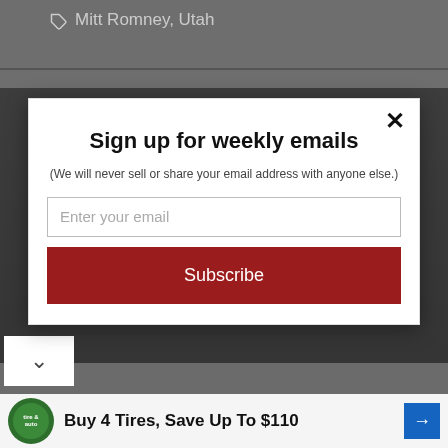Mitt Romney, Utah
Sign up for weekly emails
(We will never sell or share your email address with anyone else.)
Enter your email
Subscribe
[Figure (photo): Dark photo of a person in a suit, partially visible behind the modal overlay]
Buy 4 Tires, Save Up To $110